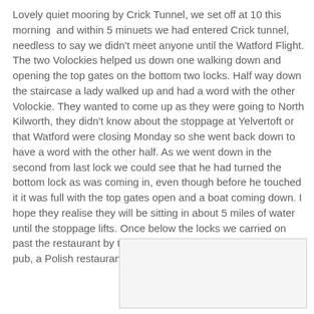Lovely quiet mooring by Crick Tunnel, we set off at 10 this morning  and within 5 minuets we had entered Crick tunnel, needless to say we didn't meet anyone until the Watford Flight. The two Volockies helped us down one walking down and opening the top gates on the bottom two locks. Half way down the staircase a lady walked up and had a word with the other Volockie. They wanted to come up as they were going to North Kilworth, they didn't know about the stoppage at Yelvertoft or that Watford were closing Monday so she went back down to have a word with the other half. As we went down in the second from last lock we could see that he had turned the bottom lock as was coming in, even though before he touched it it was full with the top gates open and a boat coming down. I hope they realise they will be sitting in about 5 miles of water until the stoppage lifts. Once below the locks we carried on past the restaurant by the A5 which is up for grabs, once a pub, a Polish restaurant then a Thai one, now
[Figure (photo): A partially visible image placeholder in the lower right area of the page]